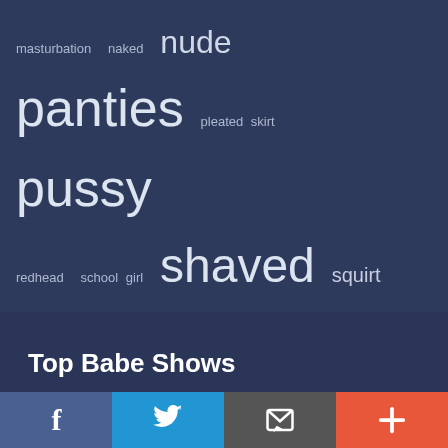[Figure (infographic): Tag cloud with adult content keywords in varying font sizes on dark blue background. Words include: masturbation, naked, nude, panties, pleated skirt, pussy, redhead, school girl, shaved, squirt, stockings, tattoo's, tease, teen, upskirt, webcam]
Top Babe Shows
[Figure (other): Four social sharing buttons at bottom: Facebook (purple-blue), Twitter (blue), Email/envelope (dark gray), Plus/more (orange-red)]